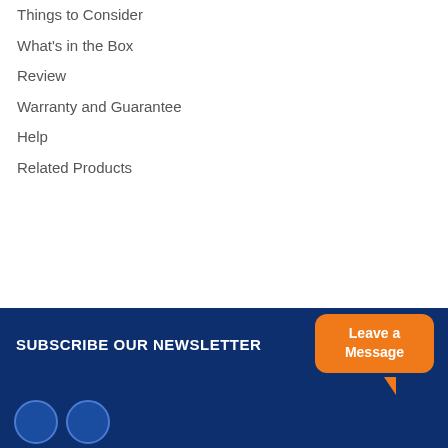Things to Consider
What's in the Box
Review
Warranty and Guarantee
Help
Related Products
SUBSCRIBE OUR NEWSLETTER
Leave a Message